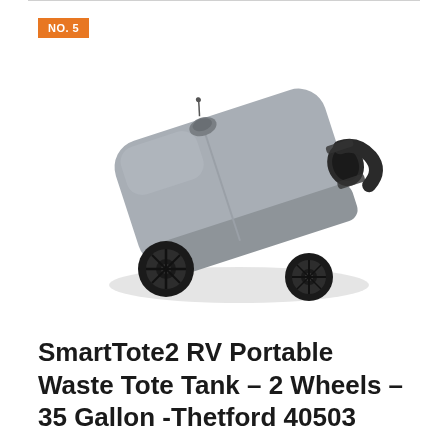NO. 5
[Figure (photo): A gray SmartTote2 RV portable waste tote tank with 2 wheels and a black curved outlet pipe/fitting on the side, viewed from a 3/4 angle above.]
SmartTote2 RV Portable Waste Tote Tank – 2 Wheels – 35 Gallon -Thetford 40503